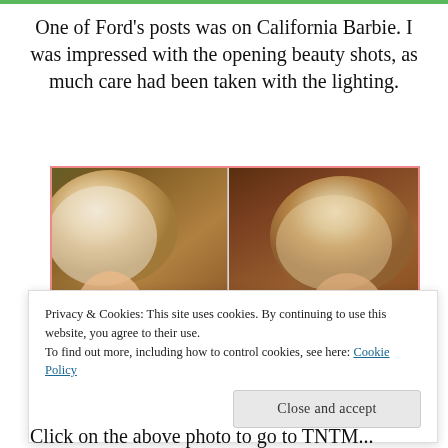One of Ford's posts was on California Barbie. I was impressed with the opening beauty shots, as much care had been taken with the lighting.
[Figure (photo): Two side-by-side photos of a Barbie doll's head with blonde upswept hair and teal flower earring, showing beauty lighting shots]
Privacy & Cookies: This site uses cookies. By continuing to use this website, you agree to their use.
To find out more, including how to control cookies, see here: Cookie Policy
Close and accept
Click on the above photo to go to TNTM...